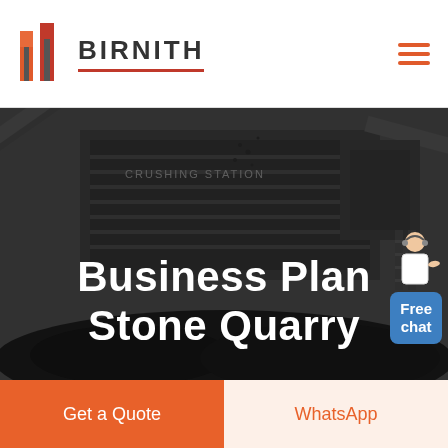[Figure (logo): Birnith logo: orange/red building icon with two vertical bars, brand name BIRNITH in bold letters with red underline]
[Figure (photo): Industrial stone crushing station machinery with conveyor belts and large crushing equipment, dark coal/stone pile in foreground, dark overlay]
Business Plan Stone Quarry
[Figure (illustration): Customer service representative figure with Free chat bubble button in blue]
Get a Quote
WhatsApp